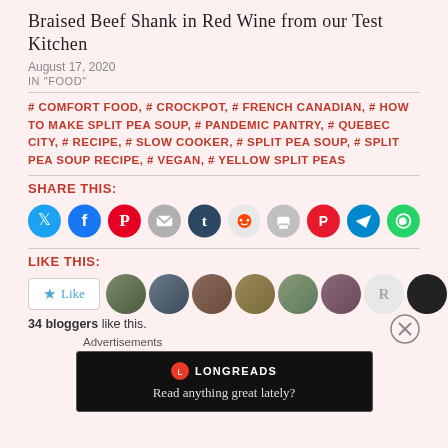Braised Beef Shank in Red Wine from our Test Kitchen
August 17, 2020
IN "FOOD"
# COMFORT FOOD, # CROCKPOT, # FRENCH CANADIAN, # HOW TO MAKE SPLIT PEA SOUP, # PANDEMIC PANTRY, # QUEBEC CITY, # RECIPE, # SLOW COOKER, # SPLIT PEA SOUP, # SPLIT PEA SOUP RECIPE, # VEGAN, # YELLOW SPLIT PEAS
SHARE THIS:
[Figure (infographic): Row of social media share icons: Twitter (blue), Facebook (blue), Pinterest (red), Email (gray), Tumblr (dark blue), Reddit (light gray), Print (gray), Pocket (red), Telegram (blue), WhatsApp (green)]
LIKE THIS:
[Figure (infographic): Like button and 10 blogger avatar photos in a row. Text: 34 bloggers like this.]
34 bloggers like this.
[Figure (screenshot): Longreads advertisement banner: dark background, Longreads logo, text 'Read anything great lately?']